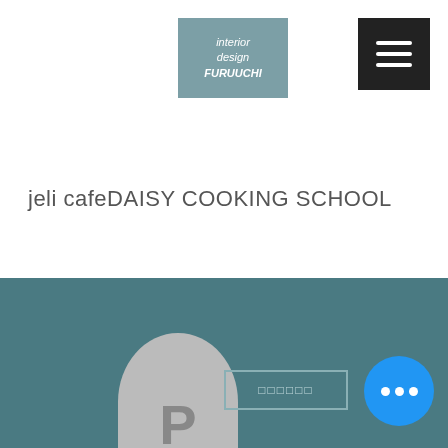[Figure (logo): Interior design FURUUCHI logo in teal/grey box with italic text]
[Figure (illustration): Hamburger menu icon (three horizontal white lines on dark background)]
[Figure (illustration): Repeating chevron/arrow watermark pattern on white background]
jeli cafeDAISY COOKING SCHOOL
[Figure (illustration): Bottom teal section with grey P avatar circle, an input field with Japanese placeholder text, and a blue chat bubble with three dots]